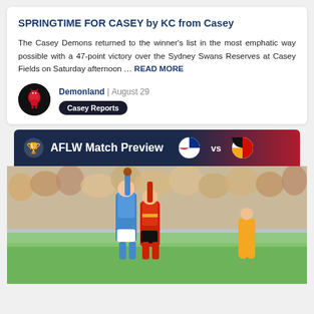SPRINGTIME FOR CASEY by KC from Casey
The Casey Demons returned to the winner's list in the most emphatic way possible with a 47-point victory over the Sydney Swans Reserves at Casey Fields on Saturday afternoon … READ MORE
Demonland | August 29
Casey Reports
AFLW Match Preview vs
[Figure (photo): AFLW football match action photo showing players competing for the ball in front of a large crowd. One player in blue and white and one in red, black and gold uniforms are jumping for the ball.]